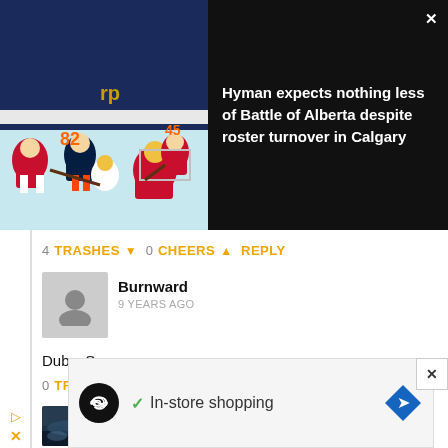[Figure (photo): Hockey game action photo showing players from two teams near the goal, one team in red/white (Calgary Flames), other in navy/orange (Edmonton Oilers)]
Hyman expects nothing less of Battle of Alberta despite roster turnover in Calgary
4 TRASHES ▼ 0 CHEERS ▲ REPLY
[Figure (photo): Default grey user avatar silhouette]
Burnward
9 YEARS AGO
Dubs. Sorry.
0 TRASHES ▼ 0 CHEERS ▲ REPLY
[Figure (photo): Dark landscape/sky photo used as avatar for ChinookArchYYC user]
ChinookArchYYC
9 YEARS AGO
[Figure (screenshot): Advertisement showing infinity loop logo, checkmark with 'In-store shopping' text, and blue navigation arrow diamond icon]